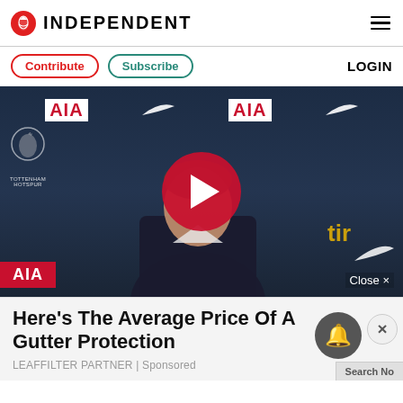INDEPENDENT — header with logo, contribute, subscribe, login, hamburger menu
[Figure (screenshot): Video thumbnail of a press conference at Tottenham Hotspur, showing a man in dark jacket seated at press desk with AIA and Nike branding in background. Large red circular play button overlay in center.]
Close ×
Here's The Average Price Of A Gutter Protection
LEAFFILTER PARTNER | Sponsored